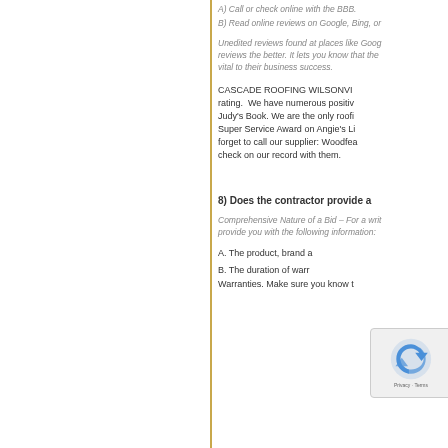A) Call or check online with the BBB.
B) Read online reviews on Google, Bing, or
Unedited reviews found at places like Goog reviews the better. It lets you know that the vital to their business success.
CASCADE ROOFING WILSONVI rating.  We have numerous positiv Judy's Book. We are the only roofi Super Service Award on Angie's Li forget to call our supplier: Woodfea check on our record with them.
8) Does the contractor provide a
Comprehensive Nature of a Bid – For a writ provide you with the following information:
A. The product, brand a
B. The duration of warr Warranties. Make sure you know t